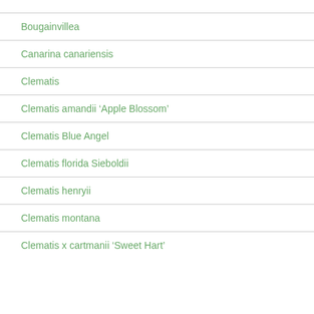Bougainvillea
Canarina canariensis
Clematis
Clematis amandii ‘Apple Blossom’
Clematis Blue Angel
Clematis florida Sieboldii
Clematis henryii
Clematis montana
Clematis x cartmanii ‘Sweet Hart’